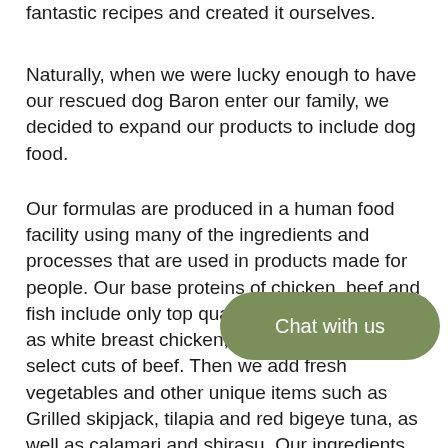fantastic recipes and created it ourselves.
Naturally, when we were lucky enough to have our rescued dog Baron enter our family, we decided to expand our products to include dog food.
Our formulas are produced in a human food facility using many of the ingredients and processes that are used in products made for people. Our base proteins of chicken, beef and fish include only top quality muscle meat, such as white breast chicken, whole tuna loins and select cuts of beef. Then we add fresh vegetables and other unique items such as Grilled skipjack, tilapia and red bigeye tuna, as well as calamari and shirasu. Our ingredients maintain a natural look and recognizable texture which all[er to see and understand the ingredients...s[what you get!
[Figure (other): A rounded green chat button overlay with the text 'Chat with us']